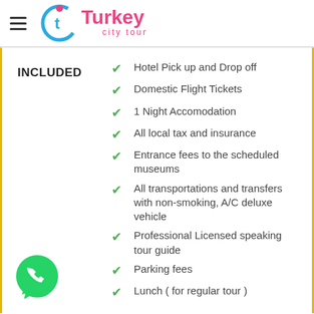Turkey city tour
INCLUDED
Hotel Pick up and Drop off
Domestic Flight Tickets
1 Night Accomodation
All local tax and insurance
Entrance fees to the scheduled museums
All transportations and transfers with non-smoking, A/C deluxe vehicle
Professional Licensed speaking tour guide
Parking fees
Lunch ( for regular tour )